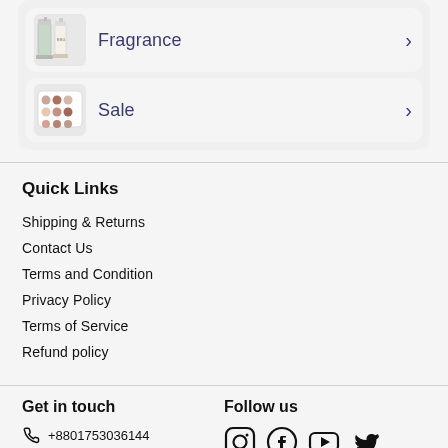Fragrance
Sale
Quick Links
Shipping & Returns
Contact Us
Terms and Condition
Privacy Policy
Terms of Service
Refund policy
Get in touch
+8801753036144
Follow us
[Figure (illustration): Social media icons: Instagram, Facebook, YouTube, Twitter]